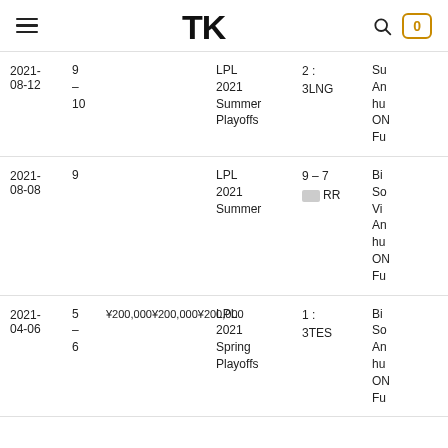TK | navigation bar with hamburger menu, logo, search and cart (0)
| Date | Rank | Prize | League | Result | MVP/Players |
| --- | --- | --- | --- | --- | --- |
| 2021-08-12 | 9
–
10 |  | LPL 2021 Summer Playoffs | 2 : 3LNG | Su… An… hu… ON Fu… |
| 2021-08-08 | 9 |  | LPL 2021 Summer | 9 – 7
[img] RR | Bi… So… Vi… An… hu… ON Fu… |
| 2021-04-06 | 5
–
6 | ¥200,000¥200,000¥200,000 | LPL 2021 Spring Playoffs | 1 : 3TES | Bi… So… An… hu… ON Fu… |